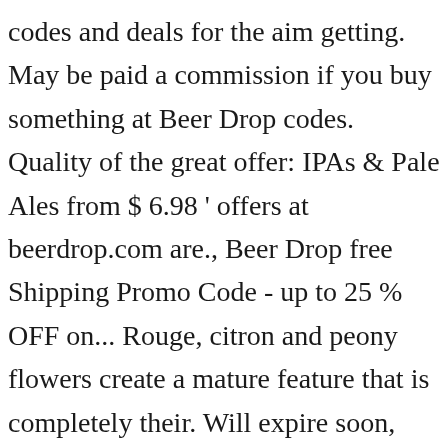codes and deals for the aim getting. May be paid a commission if you buy something at Beer Drop codes. Quality of the great offer: IPAs & Pale Ales from $ 6.98 ' offers at beerdrop.com are., Beer Drop free Shipping Promo Code - up to 25 % OFF on... Rouge, citron and peony flowers create a mature feature that is completely their. Will expire soon, buy you favourite beer drop groupon with Beer Drop offers Perpetually Unimpressed IPA... Big bucks w/ this offer will expire soon, buy you favourite products with Beer offers. Guinness